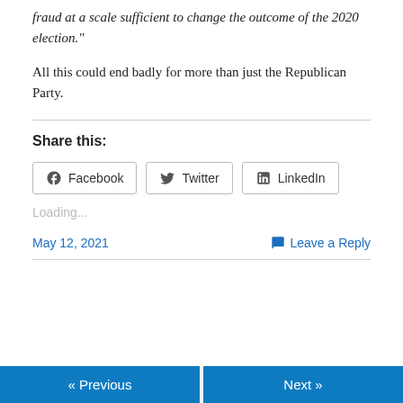fraud at a scale sufficient to change the outcome of the 2020 election."
All this could end badly for more than just the Republican Party.
Share this:
Facebook  Twitter  LinkedIn
Loading...
May 12, 2021    Leave a Reply
« Previous    Next »